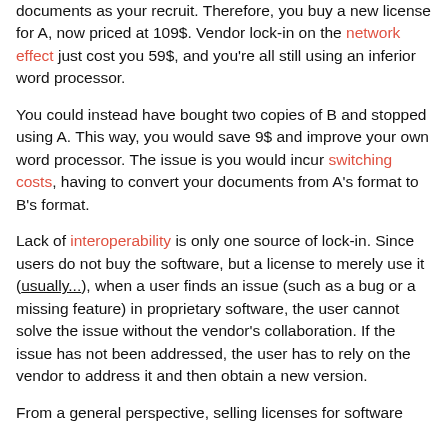documents as your recruit. Therefore, you buy a new license for A, now priced at 109$. Vendor lock-in on the network effect just cost you 59$, and you're all still using an inferior word processor.
You could instead have bought two copies of B and stopped using A. This way, you would save 9$ and improve your own word processor. The issue is you would incur switching costs, having to convert your documents from A's format to B's format.
Lack of interoperability is only one source of lock-in. Since users do not buy the software, but a license to merely use it (usually...), when a user finds an issue (such as a bug or a missing feature) in proprietary software, the user cannot solve the issue without the vendor's collaboration. If the issue has not been addressed, the user has to rely on the vendor to address it and then obtain a new version.
From a general perspective, selling licenses for software